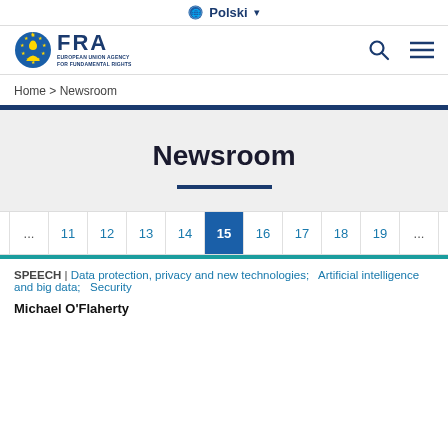🌐 Polski ▾
[Figure (logo): FRA - European Union Agency for Fundamental Rights logo with EU stars circle emblem]
Home > Newsroom
Newsroom
‹ ... 11 12 13 14 15 16 17 18 19 ... ›
SPEECH | Data protection, privacy and new technologies;   Artificial intelligence and big data;   Security
Michael O'Flaherty